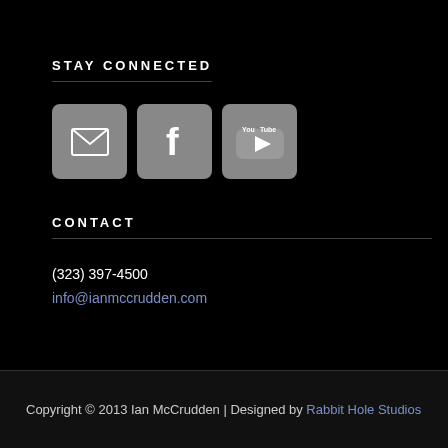STAY CONNECTED
[Figure (illustration): Three social media icon buttons: email (envelope), Facebook (f), YouTube (play button with 'You Tube' text), displayed as rounded square gray buttons]
CONTACT
(323) 397-4500
info@ianmccrudden.com
Copyright © 2013 Ian McCrudden | Designed by Rabbit Hole Studios